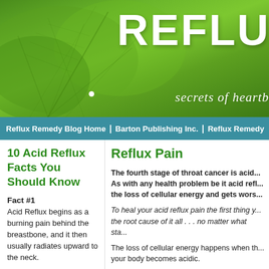[Figure (illustration): Green leaf banner header with large white text 'REFLU' and italic subtitle 'secrets of heartb...']
Reflux Remedy Blog Home  |  Barton Publishing Inc.  |  Reflux Remedy
10 Acid Reflux Facts You Should Know
Fact #1
Acid Reflux begins as a burning pain behind the breastbone, and it then usually radiates upward to the neck.
Fact #2
More than 60 million American adults suffer from acid reflux
Reflux Pain
The fourth stage of throat cancer is acid... As with any health problem be it acid refl... the loss of cellular energy and gets wors...
To heal your acid reflux pain the first thing y... the root cause of it all . . . no matter what sta...
The loss of cellular energy happens when th... your body becomes acidic.
So if you think your acid reflux is isolated to... just don't see the big picture. The environme... where it all starts and ends. Your tissue inclu... flesh.